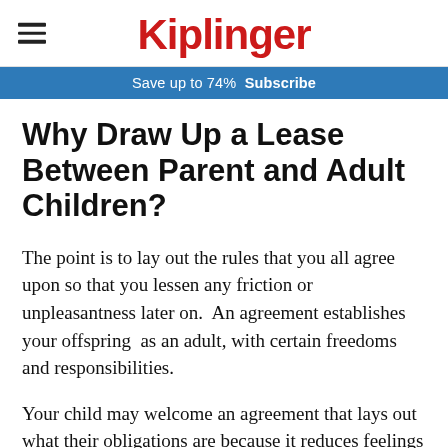Kiplinger
Save up to 74%  Subscribe
Why Draw Up a Lease Between Parent and Adult Children?
The point is to lay out the rules that you all agree upon so that you lessen any friction or unpleasantness later on.  An agreement establishes your offspring  as an adult, with certain freedoms and responsibilities.
Your child may welcome an agreement that lays out what their obligations are because it reduces feelings